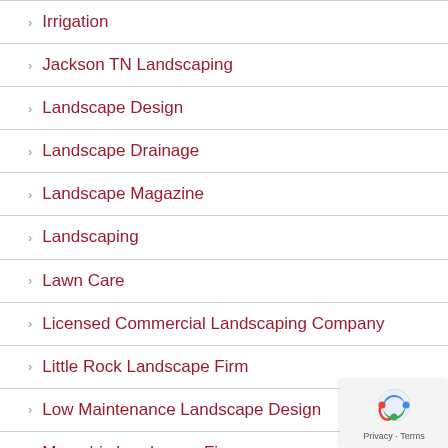Irrigation
Jackson TN Landscaping
Landscape Design
Landscape Drainage
Landscape Magazine
Landscaping
Lawn Care
Licensed Commercial Landscaping Company
Little Rock Landscape Firm
Low Maintenance Landscape Design
Memphis Landscape Firm